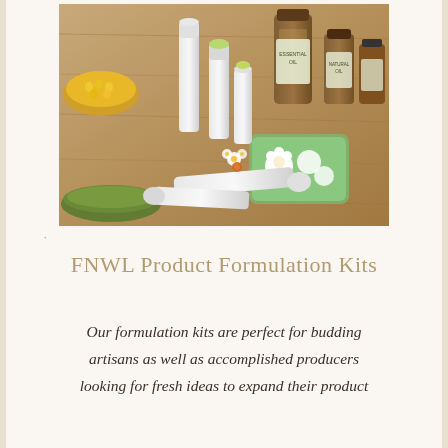[Figure (photo): Photograph of white lip balm tubes and containers arranged on a wooden surface alongside amber essential oil bottles with green labels, a green ceramic tray with white flowers, a wooden bowl with corn kernels, a small dish with green powder, and small white flowers.]
FNWL Product Formulation Kits
Our formulation kits are perfect for budding artisans as well as accomplished producers looking for fresh ideas to expand their product